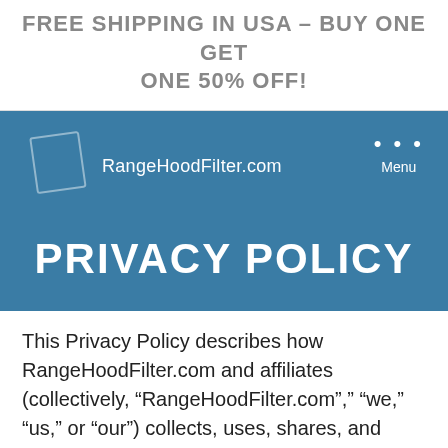FREE SHIPPING IN USA – BUY ONE GET ONE 50% OFF!
[Figure (logo): RangeHoodFilter.com logo with diamond shape outline and site name text, on blue background header with Menu button]
PRIVACY POLICY
This Privacy Policy describes how RangeHoodFilter.com and affiliates (collectively, “RangeHoodFilter.com”,” “we,” “us,” or “our”) collects, uses, shares, and safeguards personal information. This Privacy Policy also tells you about your rights and choices with respect to your personal